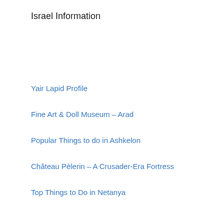Israel Information
Yair Lapid Profile
Fine Art & Doll Museum – Arad
Popular Things to do in Ashkelon
Château Pèlerin – A Crusader-Era Fortress
Top Things to Do in Netanya